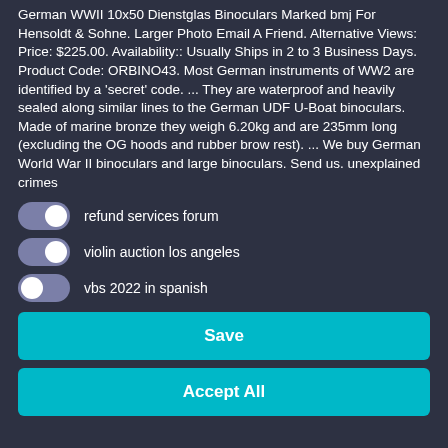German WWII 10x50 Dienstglas Binoculars Marked bmj For Hensoldt & Sohne. Larger Photo Email A Friend. Alternative Views: Price: $225.00. Availability:: Usually Ships in 2 to 3 Business Days. Product Code: ORBINO43. Most German instruments of WW2 are identified by a 'secret' code. ... They are waterproof and heavily sealed along similar lines to the German UDF U-Boat binoculars. Made of marine bronze they weigh 6.20kg and are 235mm long (excluding the OG hoods and rubber brow rest). ... We buy German World War II binoculars and large binoculars. Send us. unexplained crimes
refund services forum
violin auction los angeles
vbs 2022 in spanish
Save
Accept All